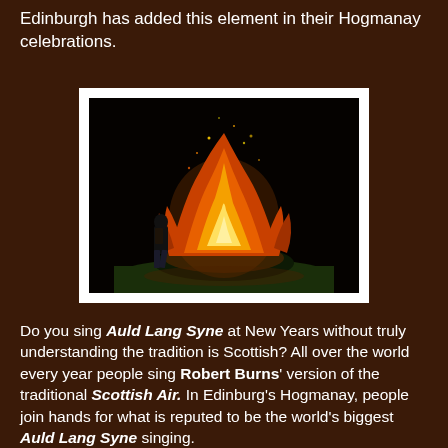Edinburgh has added this element in their Hogmanay celebrations.
[Figure (photo): A large bonfire burning at night outdoors, with a person standing in front of it. The fire has bright orange and yellow flames. The scene is dark with green grass visible in the foreground.]
Do you sing Auld Lang Syne at New Years without truly understanding the tradition is Scottish? All over the world every year people sing Robert Burns' version of the traditional Scottish Air. In Edinburg's Hogmanay, people join hands for what is reputed to be the world's biggest Auld Lang Syne singing.